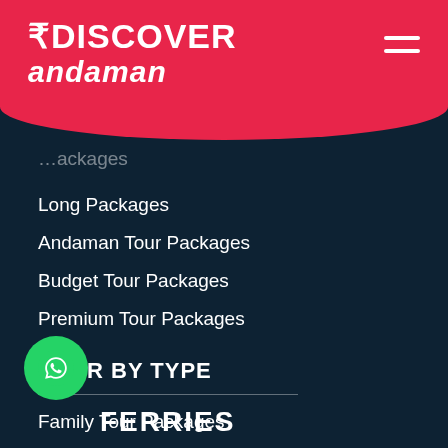DISCOVER andaman
…ackages
Long Packages
Andaman Tour Packages
Budget Tour Packages
Premium Tour Packages
TOUR BY TYPE
Family Tour Packages
Honeymoon Tour Packages
LTC Tour Packages
FERRIES